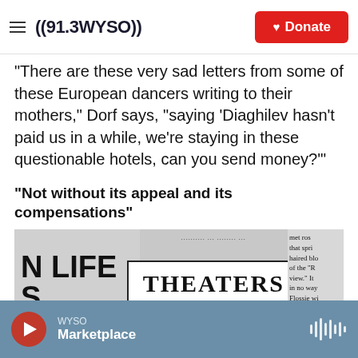91.3 WYSO | Donate
“There are these very sad letters from some of these European dancers writing to their mothers,” Dorf says, “saying ‘Diaghilev hasn’t paid us in a while, we’re staying in these questionable hotels, can you send money?’”
“Not without its appeal and its compensations”
[Figure (screenshot): Newspaper clipping showing partial text 'N LIFE S WORK' on left, center column with 'THEATERS' in a box, caption beginning 'While the Serge de Diaghileff’s Ballet Russe, which will be seen here', and right column with small print text.]
WYSO | Marketplace